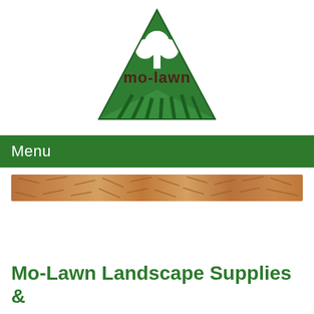[Figure (logo): Mo-Lawn logo: green triangle with a white tree/clover shape inside, and 'mo-lawn' text in dark brown below the tree within the triangle, with green grass stripes at the base]
Menu
[Figure (photo): A horizontal strip photo showing wood chip mulch — tan and brown shredded wood pieces]
Mo-Lawn Landscape Supplies &